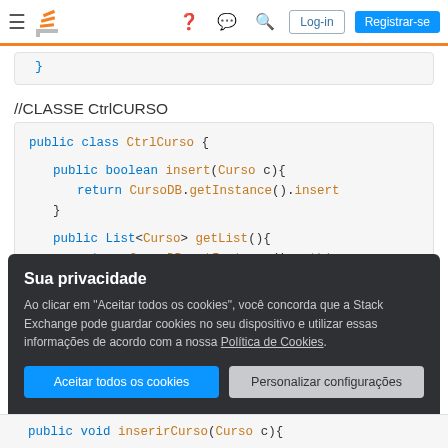Stack Overflow navigation bar with Log-in and Registrar-se buttons
[Figure (screenshot): Code block showing closing brace of a Java method]
//CLASSE CtrlCURSO
[Figure (screenshot): Java code block showing public class CtrlCurso with insert and getList methods]
Sua privacidade
Ao clicar em "Aceitar todos os cookies", você concorda que a Stack Exchange pode guardar cookies no seu dispositivo e utilizar essas informações de acordo com a nossa Política de Cookies.
Aceitar todos os cookies | Personalizar configurações
[Figure (screenshot): Bottom strip showing: public void inserirCurso(Curso c){]